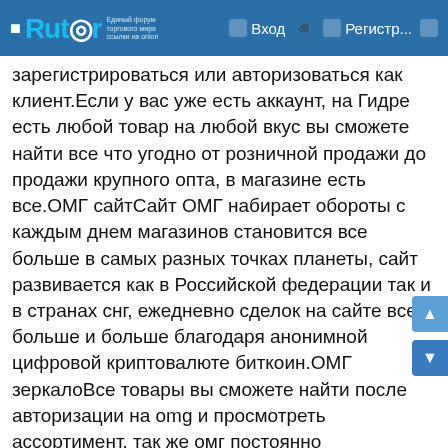Rutor | Вход | Регистр...
зарегистрироваться или авторизоваться как клиент.Если у вас уже есть аккаунт, на Гидре есть любой товар на любой вкус вы сможете найти все что угодно от розничной продажи до продажи крупного опта, в магазине есть все.ОМГ сайтСайт ОМГ набирает обороты с каждым днем магазинов становится все больше в самых разных точках планеты, сайт развивается как в Российской федерации так и в странах снг, ежедневно сделок на сайте все больше и больше благодаря анонимной цифровой криптовалюте биткоин.ОМГ зеркалоВсе товары вы сможете найти после авторизации на omg и просмотреть ассортимент, так же омг постоянно увеличивает круг своих работников при желании вы сможете устроиться к ним на работу и хорошие деньги не выходя из дома прямо за своим компъютером. А вот по этим запросам пользователи легко находят ссылки на гидру в поисковых системах, но если вы не знаете как отличить фейк от оригинала, вам лучше добавить эту страницу в закладки.omg oniomкак зайти на omg с айфонаomg торговая площадкаomg наркоomgruzxpnew4af mirrorsomg newомг не работаетomgruzxpnew4af.onion market 56omg shopомг